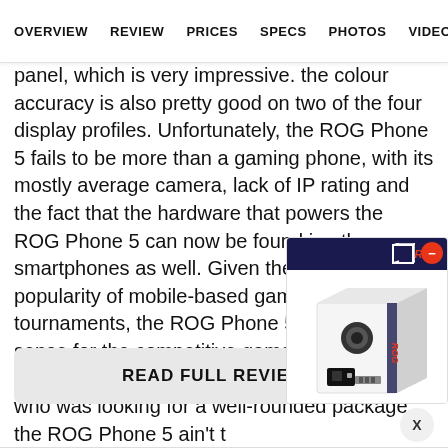OVERVIEW   REVIEW   PRICES   SPECS   PHOTOS   VIDEOS
panel, which is very impressive. the colour accuracy is also pretty good on two of the four display profiles. Unfortunately, the ROG Phone 5 fails to be more than a gaming phone, with its mostly average camera, lack of IP rating and the fact that the hardware that powers the ROG Phone 5 can now be found in other smartphones as well. Given the rise in popularity of mobile-based gaming tournaments, the ROG Phone 5 makes perfect sense for the competitive gamer or even a casual gamer for that matter. But for anyone who was looking for a well-rounded package, the ROG Phone 5 ain't t
[Figure (screenshot): READ FULL REVIEW button with an advertisement overlay showing a product box with ROG branding and a close button]
X